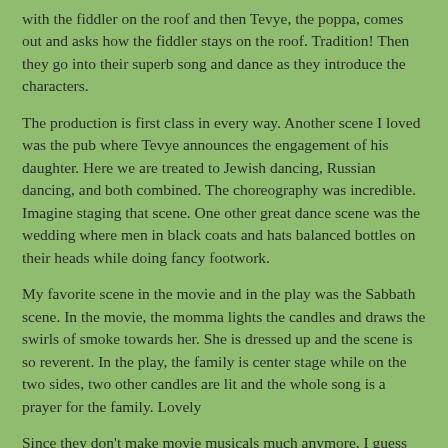with the fiddler on the roof and then Tevye, the poppa, comes out and asks how the fiddler stays on the roof. Tradition! Then they go into their superb song and dance as they introduce the characters.
The production is first class in every way. Another scene I loved was the pub where Tevye announces the engagement of his daughter. Here we are treated to Jewish dancing, Russian dancing, and both combined. The choreography was incredible. Imagine staging that scene. One other great dance scene was the wedding where men in black coats and hats balanced bottles on their heads while doing fancy footwork.
My favorite scene in the movie and in the play was the Sabbath scene. In the movie, the momma lights the candles and draws the swirls of smoke towards her. She is dressed up and the scene is so reverent. In the play, the family is center stage while on the two sides, two other candles are lit and the whole song is a prayer for the family. Lovely
Since they don't make movie musicals much anymore, I guess I'll have to be satisfied by finding returns of the old greats like Camelot. In fact, I love the stage even more because you get such a thrill when a big number ends and everyone claps. I love the